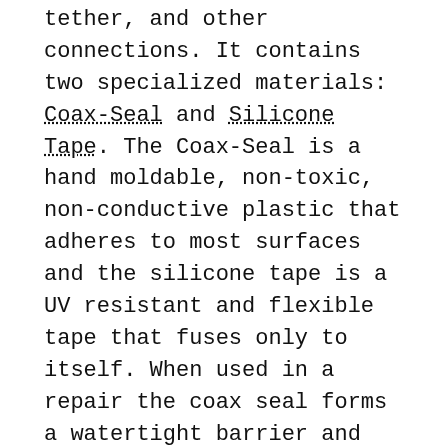tether, and other connections. It contains two specialized materials: Coax-Seal and Silicone Tape. The Coax-Seal is a hand moldable, non-toxic, non-conductive plastic that adheres to most surfaces and the silicone tape is a UV resistant and flexible tape that fuses only to itself. When used in a repair the coax seal forms a watertight barrier and the silicone tape is used to protect it. The kit also contains acetone wipes to help clean and prepare the cable surface for the best possible adhesion. With these tools in hand a day of diving doesn't have to be called off because of a damaged cable, just perform a field repair and keep going!
We spent quite a bit of time testing out these tools and trying out different ways to apply them. Our best cable repair lasted to a full 1000m in the Crushinator! Please check out the tutorial link below for more